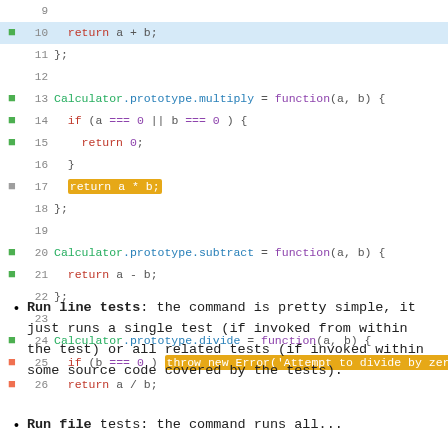[Figure (screenshot): Code editor screenshot showing JavaScript code lines 9-26 with coverage indicators (green/gray/red squares). Lines show Calculator prototype methods: add (return a+b highlighted in blue), multiply (with if check and return a*b highlighted in yellow), subtract (return a-b), and divide (with if b===0 throw new Error highlighted in yellow, and return a/b with red indicator).]
Run line tests: the command is pretty simple, it just runs a single test (if invoked from within the test) or all related tests (if invoked within some source code covered by the tests).
Run file tests: the command runs all...